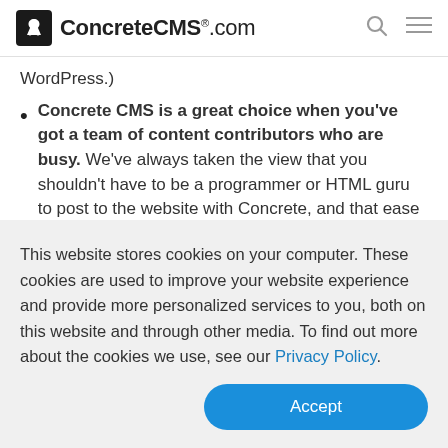ConcreteCMS.com
WordPress.)
Concrete CMS is a great choice when you've got a team of content contributors who are busy. We've always taken the view that you shouldn't have to be a programmer or HTML guru to post to the website with Concrete, and that ease of use shows. We're
This website stores cookies on your computer. These cookies are used to improve your website experience and provide more personalized services to you, both on this website and through other media. To find out more about the cookies we use, see our Privacy Policy.
Accept